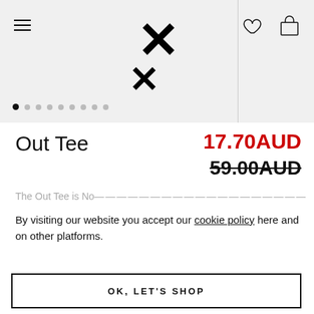Navigation header with hamburger menu, logo (KX), wishlist and cart icons
[Figure (screenshot): Carousel dot indicators: 9 dots, first one filled/active, rest grey]
Out Tee
17.70AUD
59.00AUD
The Out Tee is No...
By visiting our website you accept our cookie policy here and on other platforms.
OK, LET'S SHOP